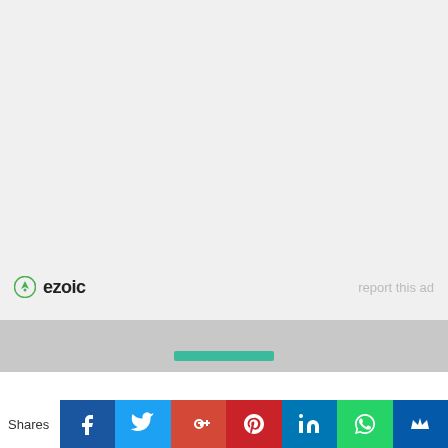[Figure (other): Light gray advertisement placeholder area with Ezoic logo (green circle icon with 'ezoic' text) on the left and 'report this ad' link in light gray on the right]
[Figure (other): Gray horizontal scroll/progress bar area with a teal/green scroll thumb indicator centered]
Shares
[Figure (other): Social share buttons row: Facebook (blue), Twitter (light blue), Google+ (red-orange), Pinterest (red), LinkedIn (blue), WhatsApp (green), SumoMe crown (dark blue)]